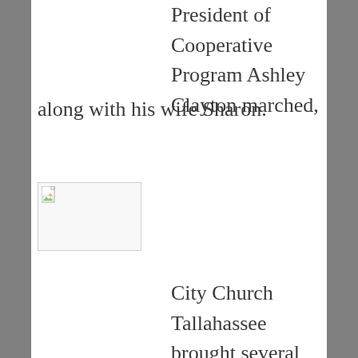President of Cooperative Program Ashley Clayton marched, along with his wife Sharon.
[Figure (photo): Broken/missing image placeholder icon in upper left area]
City Church Tallahassee brought several of their staff to the